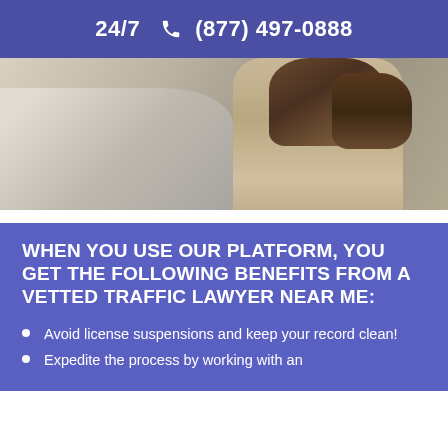24/7 📞 (877) 497-0888
[Figure (photo): Photo of a woman with long brown hair wearing a beige/tan knit sweater, partially visible beside a car window with light reflecting off surfaces.]
WHEN YOU USE OUR PLATFORM, YOU GET THE FOLLOWING BENEFITS FROM A VETTED TRAFFIC LAWYER NEAR ME:
Avoid license suspensions and keep your record clean!
Expedite the process by working with an